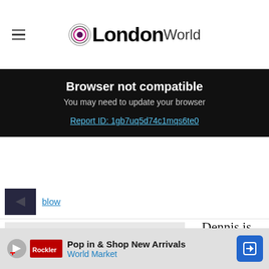LondonWorld
Browser not compatible
You may need to update your browser
Report ID: 1gb7uq5d74c1mqs6te0
[Figure (photo): Small dark thumbnail image of a person]
blow
[Figure (other): Advertisement placeholder block]
Dennis is slightly older than Nkotiah e
Pop in & Shop New Arrivals
World Market